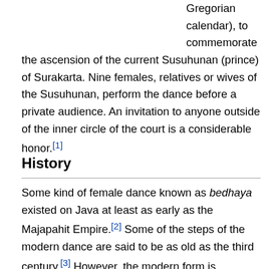Gregorian calendar), to commemorate the ascension of the current Susuhunan (prince) of Surakarta. Nine females, relatives or wives of the Susuhunan, perform the dance before a private audience. An invitation to anyone outside of the inner circle of the court is a considerable honor.[1]
History
Some kind of female dance known as bedhaya existed on Java at least as early as the Majapahit Empire.[2] Some of the steps of the modern dance are said to be as old as the third century.[3] However, the modern form is traditionally dated to the court of Sultan Agung of Mataram (reigned 1613–1645). Unfortunately there is almost no historical evidence to back up the claims made about the advances in the arts in Sultan Agung's courts, and the existence of the dance is not conclusively documented until the late...